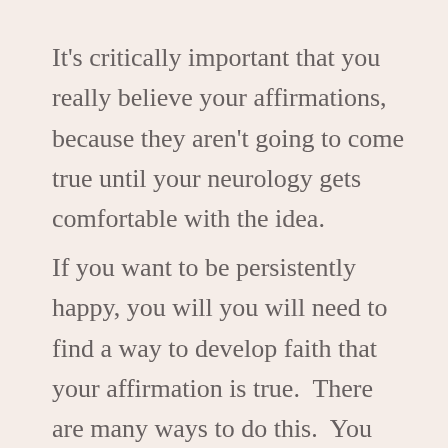It's critically important that you really believe your affirmations, because they aren't going to come true until your neurology gets comfortable with the idea.
If you want to be persistently happy, you will you will need to find a way to develop faith that your affirmation is true.  There are many ways to do this.  You can use purely mental reasoning like logical arguments; you can